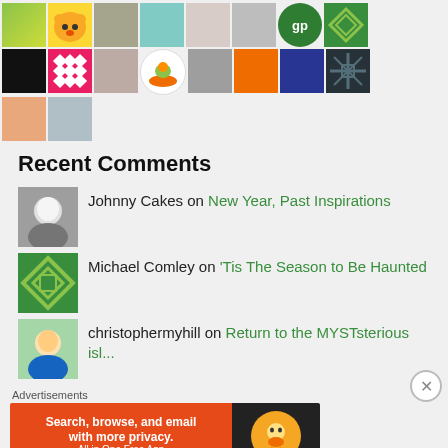[Figure (photo): Grid of user avatars arranged in 3 rows showing various profile pictures including illustrations, photos, logos, and pattern images]
Recent Comments
[Figure (photo): Profile photo of Johnny Cakes - elderly man with white hair and stern expression]
Johnny Cakes on New Year, Past Inspirations
[Figure (illustration): Green and white quilt/snowflake pattern avatar for Michael Comley]
Michael Comley on 'Tis The Season to Be Haunted
[Figure (photo): Profile photo of christophermyhill - young man]
christophermyhill on Return to the MYSTsterious isl...
Advertisements
[Figure (screenshot): DuckDuckGo advertisement banner - orange background with text 'Search, browse, and email with more privacy. All in One Free App' and DuckDuckGo duck logo on dark background]